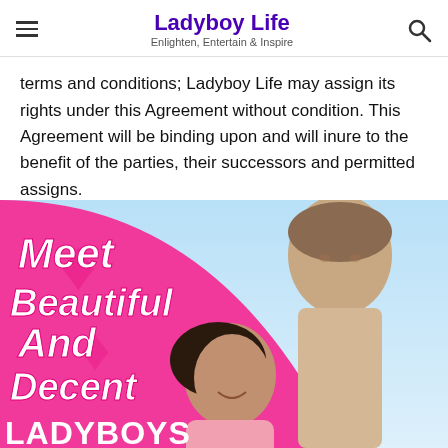Ladyboy Life — Enlighten, Entertain & Inspire
terms and conditions; Ladyboy Life may assign its rights under this Agreement without condition. This Agreement will be binding upon and will inure to the benefit of the parties, their successors and permitted assigns.
[Figure (illustration): Advertisement banner with pink background and couple photo. Text reads: Meet Beautiful And Decent LADYBOYS]